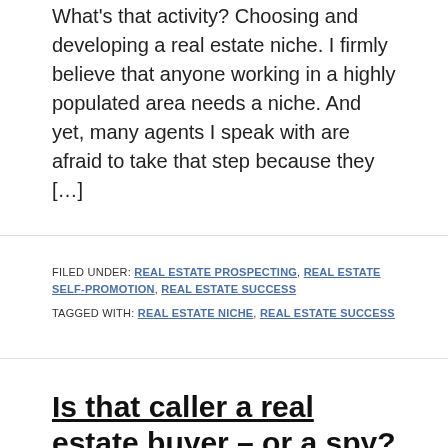What's that activity? Choosing and developing a real estate niche. I firmly believe that anyone working in a highly populated area needs a niche. And yet, many agents I speak with are afraid to take that step because they […]
FILED UNDER: REAL ESTATE PROSPECTING, REAL ESTATE SELF-PROMOTION, REAL ESTATE SUCCESS
TAGGED WITH: REAL ESTATE NICHE, REAL ESTATE SUCCESS
Is that caller a real estate buyer – or a spy?
JUNE 26, 2014 BY MARTE CLIFF